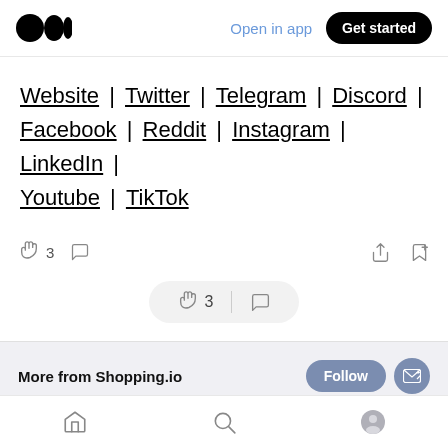Open in app | Get started
Website | Twitter | Telegram | Discord | Facebook | Reddit | Instagram | LinkedIn | Youtube | TikTok
👏 3  💬  [share] [bookmark+]
👏 3  |  💬
More from Shopping.io  Follow
[home] [search] [profile]